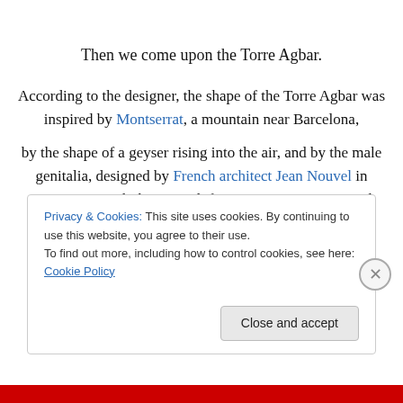Then we come upon the Torre Agbar.
According to the designer, the shape of the Torre Agbar was inspired by Montserrat, a mountain near Barcelona,
by the shape of a geyser rising into the air, and by the male genitalia, designed by French architect Jean Nouvel in association with the Spanish firm B720 Arquitectos and built by Dragados.
Privacy & Cookies: This site uses cookies. By continuing to use this website, you agree to their use. To find out more, including how to control cookies, see here: Cookie Policy